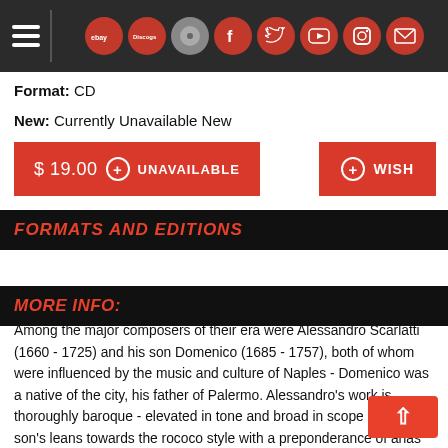Header navigation bar with hamburger menu and social/shopping icons (ebay, Discogs, and social media)
Format: CD
New: Currently Unavailable New
$ 19.00  + UNAVAILABLE
+ WISH
FORMATS AND EDITIONS
MORE INFO:
Among the major composers of their era were Alessandro Scarlatti (1660 - 1725) and his son Domenico (1685 - 1757), both of whom were influenced by the music and culture of Naples - Domenico was a native of the city, his father of Palermo. Alessandro's work is thoroughly baroque - elevated in tone and broad in scope - while his son's leans towards the rococo style with a preponderance of arias and cantatas, many of which were influenced by the music of Portugal and Castille. Domenico, of course, spent much of his life in Spain. The cantata: "Che si